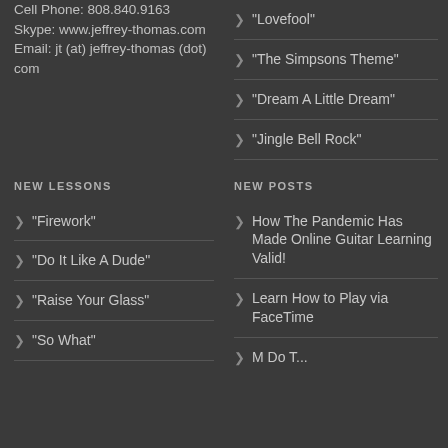Cell Phone: 808.840.9163
Skype: www.jeffrey-thomas.com
Email: jt (at) jeffrey-thomas (dot) com
“Lovefool”
“The Simpsons Theme”
“Dream A Little Dream”
“Jingle Bell Rock”
NEW LESSONS
NEW POSTS
“Firework”
“Do It Like A Dude”
“Raise Your Glass”
“So What”
How The Pandemic Has Made Online Guitar Learning Valid!
Learn How to Play via FaceTime
M Do T...